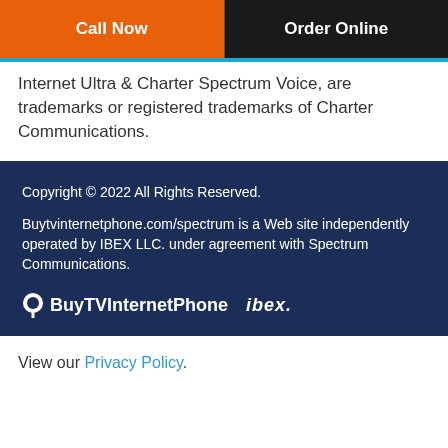Call Now | Order Online
Internet Ultra & Charter Spectrum Voice, are trademarks or registered trademarks of Charter Communications.
Copyright © 2022 All Rights Reserved.
Buytvinternetphone.com/spectrum is a Web site independently operated by IBEX LLC. under agreement with Spectrum Communications.
[Figure (logo): BuyTVInternetPhone logo with pin icon and ibex. logo in white on dark blue background]
View our Privacy Policy.